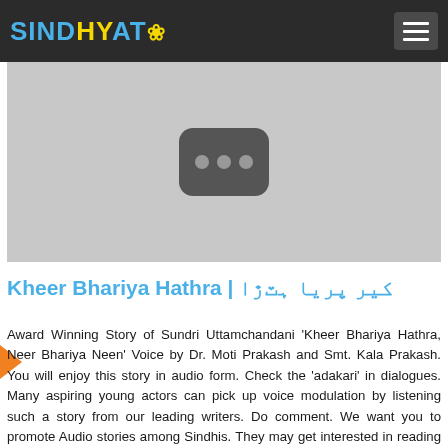SINDHYAT (logo with flower icon) — navigation header
[Figure (screenshot): YouTube-style video thumbnail placeholder showing a rounded rectangle play icon with three circles on a grey background]
Kheer Bhariya Hathra | کیر پریا ہٽڙا
Award Winning Story of Sundri Uttamchandani 'Kheer Bhariya Hathra, Neer Bhariya Neen' Voice by Dr. Moti Prakash and Smt. Kala Prakash. You will enjoy this story in audio form. Check the 'adakari' in dialogues. Many aspiring young actors can pick up voice modulation by listening such a story from our leading writers. Do comment. We want you to promote Audio stories among Sindhis. They may get interested in reading Sindhi literature. Brought to you by Asha Chand. Share with others & Do subscribe We promote Sindhi through the internet and media ie Television. visit www.SindhiSangat.tv to view all the content so far